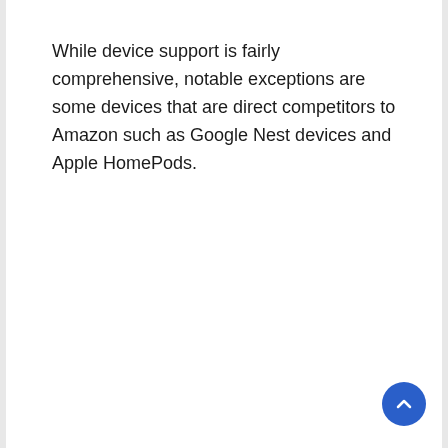While device support is fairly comprehensive, notable exceptions are some devices that are direct competitors to Amazon such as Google Nest devices and Apple HomePods.